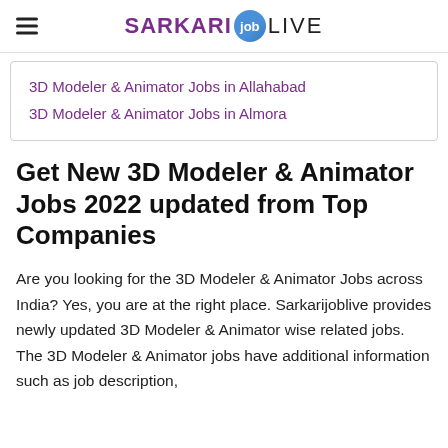SARKARI job LIVE
3D Modeler & Animator Jobs in Allahabad
3D Modeler & Animator Jobs in Almora
Get New 3D Modeler & Animator Jobs 2022 updated from Top Companies
Are you looking for the 3D Modeler & Animator Jobs across India? Yes, you are at the right place. Sarkarijoblive provides newly updated 3D Modeler & Animator wise related jobs. The 3D Modeler & Animator jobs have additional information such as job description,